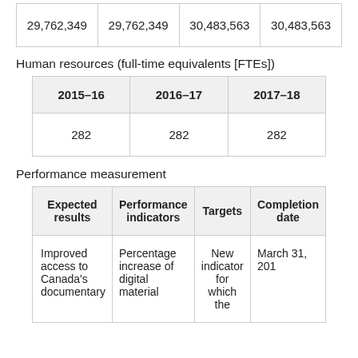| 29,762,349 | 29,762,349 | 30,483,563 | 30,483,563 |
Human resources (full-time equivalents [FTEs])
| 2015–16 | 2016–17 | 2017–18 |
| --- | --- | --- |
| 282 | 282 | 282 |
Performance measurement
| Expected results | Performance indicators | Targets | Completion date |
| --- | --- | --- | --- |
| Improved access to Canada's documentary | Percentage increase of digital material | New indicator for which the | March 31, 201 |